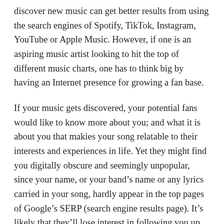discover new music can get better results from using the search engines of Spotify, TikTok, Instagram, YouTube or Apple Music. However, if one is an aspiring music artist looking to hit the top of different music charts, one has to think big by having an Internet presence for growing a fan base.
If your music gets discovered, your potential fans would like to know more about you; and what it is about you that makies your song relatable to their interests and experiences in life. Yet they might find you digitally obscure and seemingly unpopular, since your name, or your band’s name or any lyrics carried in your song, hardly appear in the top pages of Google’s SERP (search engine results page). It’s likely that they’ll lose interest in following you up or for that matter, in finding out if you have other songs to offer music enthusiasts.